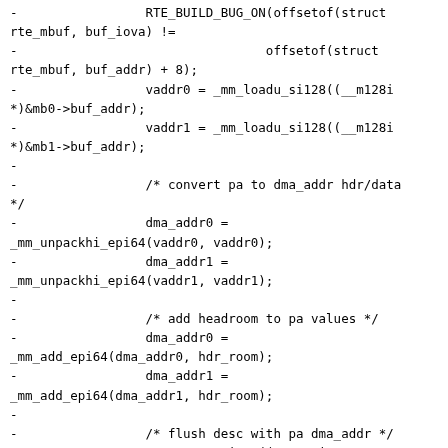-                 RTE_BUILD_BUG_ON(offsetof(struct rte_mbuf, buf_iova) !=
-                                 offsetof(struct rte_mbuf, buf_addr) + 8);
-                 vaddr0 = _mm_loadu_si128((__m128i *)&mb0->buf_addr);
-                 vaddr1 = _mm_loadu_si128((__m128i *)&mb1->buf_addr);
-
-                 /* convert pa to dma_addr hdr/data */
-                 dma_addr0 = _mm_unpackhi_epi64(vaddr0, vaddr0);
-                 dma_addr1 = _mm_unpackhi_epi64(vaddr1, vaddr1);
-
-                 /* add headroom to pa values */
-                 dma_addr0 = _mm_add_epi64(dma_addr0, hdr_room);
-                 dma_addr1 = _mm_add_epi64(dma_addr1, hdr_room);
-
-                 /* flush desc with pa dma_addr */
-                 _mm_store_si128((__m128i *)&rxdp++->read, dma_addr0);
-                 _mm_store_si128((__m128i *)&rxdp++->read, dma_addr1);
-         }
-#else
-         struct rte_mbuf *mb0, *mb1, *mb2, *mb3;